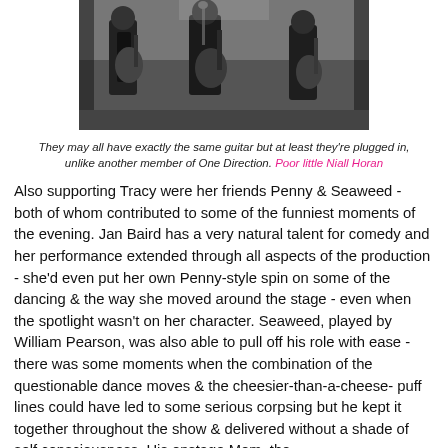[Figure (photo): Black and white photograph of musicians on stage playing guitars]
They may all have exactly the same guitar but at least they're plugged in, unlike another member of One Direction. Poor little Niall Horan
Also supporting Tracy were her friends Penny & Seaweed - both of whom contributed to some of the funniest moments of the evening. Jan Baird has a very natural talent for comedy and her performance extended through all aspects of the production - she'd even put her own Penny-style spin on some of the dancing & the way she moved around the stage - even when the spotlight wasn't on her character. Seaweed, played by William Pearson, was also able to pull off his role with ease - there was some moments when the combination of the questionable dance moves & the cheesier-than-a-cheese-puff lines could have led to some serious corpsing but he kept it together throughout the show & delivered without a shade of self consciousness. His onstage Mom, the formidable Motormouth Maybelle, was played by the formidable